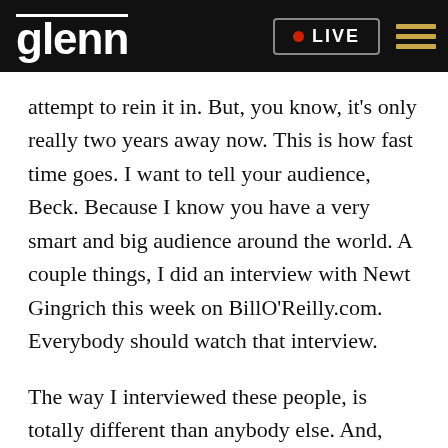glenn | LIVE
attempt to rein it in. But, you know, it's only really two years away now. This is how fast time goes. I want to tell your audience, Beck. Because I know you have a very smart and big audience around the world. A couple things, I did an interview with Newt Gingrich this week on BillO'Reilly.com. Everybody should watch that interview.
The way I interviewed these people, is totally different than anybody else. And, you know, that.
Facebook, Twitter, Email, SMS icons